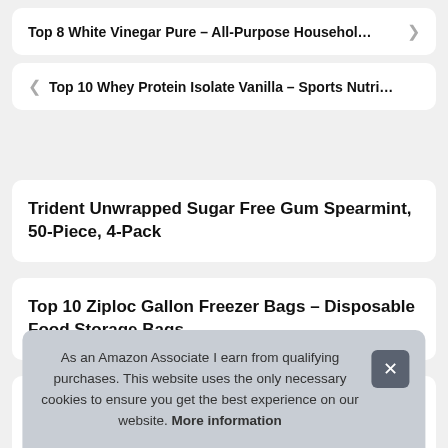Top 8 White Vinegar Pure – All-Purpose Househol…
Top 10 Whey Protein Isolate Vanilla – Sports Nutri…
Trident Unwrapped Sugar Free Gum Spearmint, 50-Piece, 4-Pack
Top 10 Ziploc Gallon Freezer Bags – Disposable Food Storage Bags
As an Amazon Associate I earn from qualifying purchases. This website uses the only necessary cookies to ensure you get the best experience on our website. More information